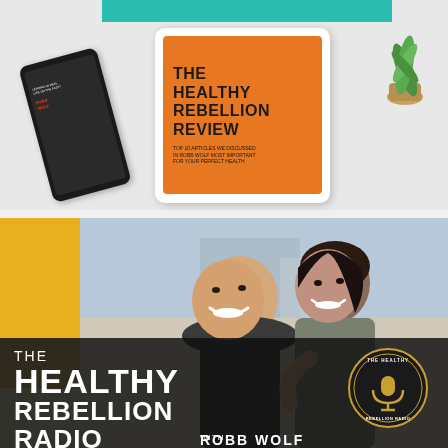[Figure (photo): Photo of a tablet and phone on a desk surface. The tablet displays an orange screen with the text 'THE HEALTHY REBELLION REVIEW'. A teal/turquoise banner appears at the top. A small plant is visible in the top right corner.]
[Figure (photo): Promotional photo for 'The Healthy Rebellion Radio' podcast. Two people (a man and a woman) are smiling at the camera. Large white bold text reads 'THE HEALTHY REBELLION RADIO' with 'WITH ROBB WOLF' below. A circular logo badge for 'The Healthy Rebellion Radio' with a microphone icon appears on the right side.]